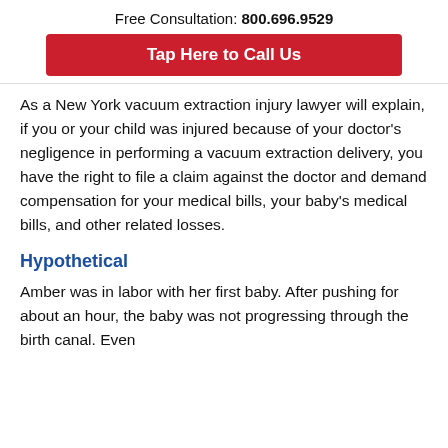Free Consultation: 800.696.9529
Tap Here to Call Us
As a New York vacuum extraction injury lawyer will explain, if you or your child was injured because of your doctor's negligence in performing a vacuum extraction delivery, you have the right to file a claim against the doctor and demand compensation for your medical bills, your baby's medical bills, and other related losses.
Hypothetical
Amber was in labor with her first baby. After pushing for about an hour, the baby was not progressing through the birth canal. Even